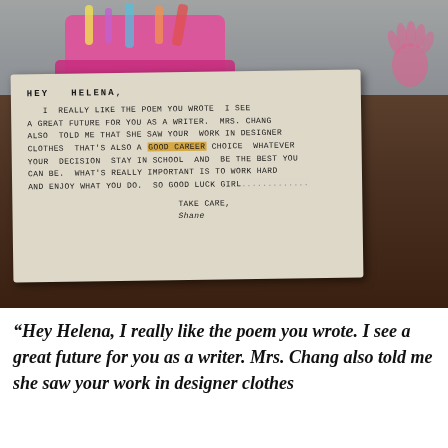[Figure (photo): A photograph of a handwritten letter on worn paper placed on a dark wooden surface, with a pink basket of candy and toys in the background and pink handprints visible on the right. The letter reads: HEY HELENA, I REALLY LIKE THE POEM YOU WROTE. I SEE A GREAT FUTURE FOR YOU AS A WRITER. MRS. CHANG ALSO TOLD ME THAT SHE SAW YOUR WORK IN DESIGNER CLOTHES THAT'S ALSO A GOOD CAREER CHOICE WHATEVER YOUR DECISION STAY IN SCHOOL AND BE THE BEST YOU CAN BE. WHAT'S REALLY IMPORTANT IS TO WORK HARD AND ENJOY WHAT YOU DO. SO GOOD LUCK GIRL... TAKE CARE, SHANE]
“Hey Helena, I really like the poem you wrote. I see a great future for you as a writer. Mrs. Chang also told me she saw your work in designer clothes